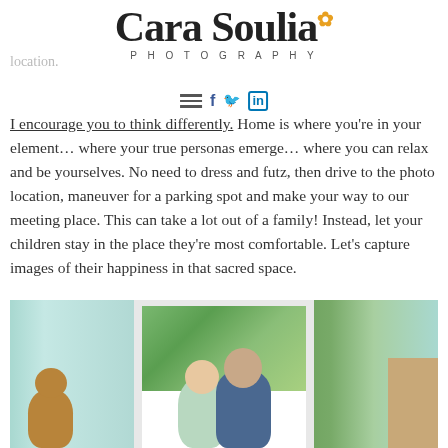[Figure (logo): Cara Soulia Photography logo with script font and decorative sunflower]
location.
I encourage you to think differently. Home is where you're in your element… where your true personas emerge… where you can relax and be yourselves. No need to dress and futz, then drive to the photo location, maneuver for a parking spot and make your way to our meeting place. This can take a lot out of a family! Instead, let your children stay in the place they're most comfortable. Let's capture images of their happiness in that sacred space.
[Figure (photo): Two young children sitting by a window in a teal/mint colored room, with a teddy bear on the left and wooden furniture on the right]